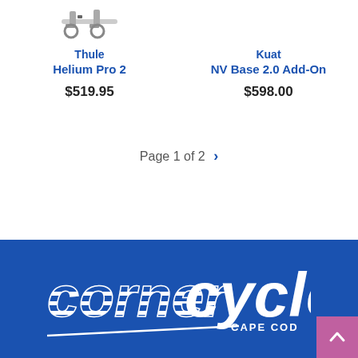[Figure (photo): Thule Helium Pro 2 bike rack product image (partial, top of image visible)]
Thule
Helium Pro 2
$519.95
Kuat
NV Base 2.0 Add-On
$598.00
Page 1 of 2 >
[Figure (logo): Corner Cycle Cape Cod logo in white on blue background]